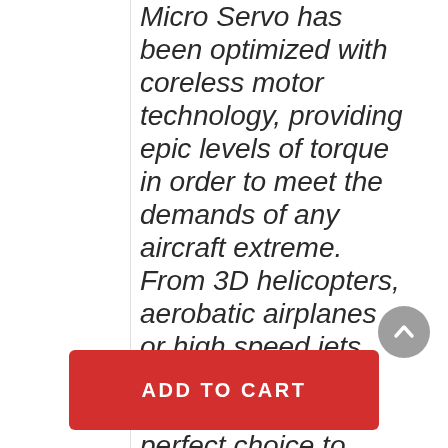Micro Servo has been optimized with coreless motor technology, providing epic levels of torque in order to meet the demands of any aircraft extreme. From 3D helicopters, aerobatic airplanes or high speed jets, the TORQ CL0508 Micro Servo is the perfect choice to
[Figure (other): Circular grey scroll-to-top arrow button]
ADD TO CART